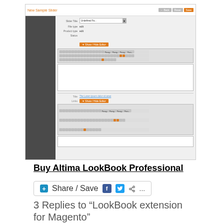[Figure (screenshot): Screenshot of a Magento admin panel showing a form with fields (title, file type, product type, status), a WYSIWYG editor toolbar, a text editing area, and a Files section with another WYSIWYG editor below.]
Buy Altima LookBook Professional
[Figure (infographic): Share / Save social sharing button bar with icons for Facebook, Twitter, share, and ellipsis.]
3 Replies to “LookBook extension for Magento”